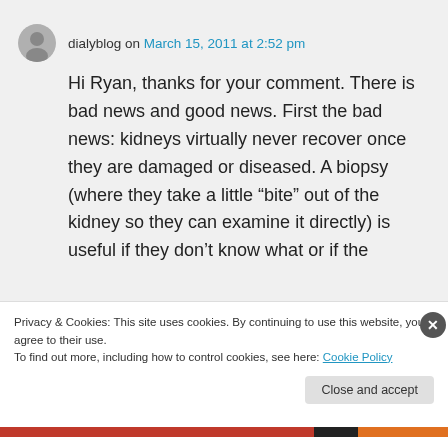dialyblog on March 15, 2011 at 2:52 pm
Hi Ryan, thanks for your comment. There is bad news and good news. First the bad news: kidneys virtually never recover once they are damaged or diseased. A biopsy (where they take a little “bite” out of the kidney so they can examine it directly) is useful if they don’t know what or if the
Privacy & Cookies: This site uses cookies. By continuing to use this website, you agree to their use.
To find out more, including how to control cookies, see here: Cookie Policy
Close and accept